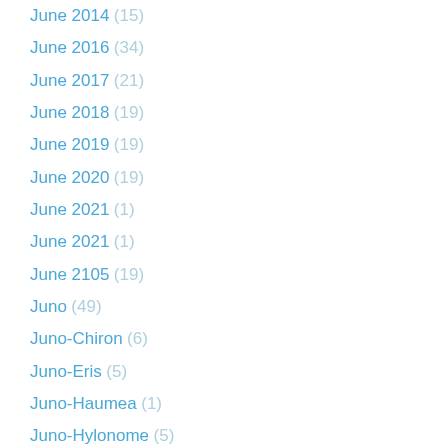June 2014 (15)
June 2016 (34)
June 2017 (21)
June 2018 (19)
June 2019 (19)
June 2020 (19)
June 2021 (1)
June 2021 (1)
June 2105 (19)
Juno (49)
Juno-Chiron (6)
Juno-Eris (5)
Juno-Haumea (1)
Juno-Hylonome (5)
Juno-Ixion (3)
Juno-Jupiter (5)
Juno-Lachesis (1)
Juno-Lilith (5)
Juno-Makemake (2)
Juno-Nemesis (7)